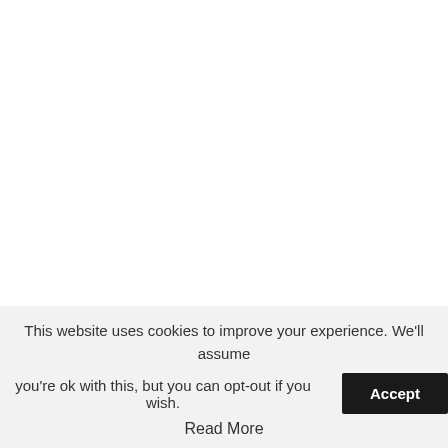The vet said the horse's mouth squeaked when it ate, and its sharp points of enamel and expired teeth showed it
This website uses cookies to improve your experience. We'll assume you're ok with this, but you can opt-out if you wish. Accept
Read More